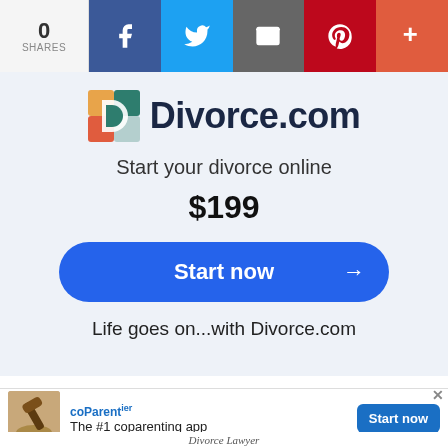0 SHARES | Facebook | Twitter | Email | Pinterest | More
[Figure (logo): Divorce.com logo with colorful D icon and site name]
Start your divorce online
$199
Start now →
Life goes on...with Divorce.com
coParentier – The #1 coparenting app – Start now